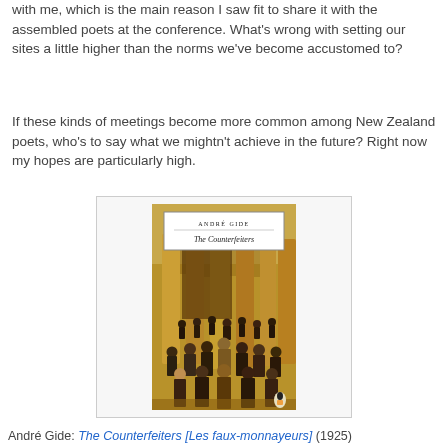with me, which is the main reason I saw fit to share it with the assembled poets at the conference. What's wrong with setting our sites a little higher than the norms we've become accustomed to?
If these kinds of meetings become more common among New Zealand poets, who's to say what we mightn't achieve in the future? Right now my hopes are particularly high.
[Figure (illustration): Book cover of 'The Counterfeiters' by André Gide — a Penguin Classic edition showing a crowd of people in dark clothing gathered in front of large stone columns, painted in warm golden-brown tones. The cover has a white title box at the top reading 'ANDRÉ GIDE / The Counterfeiters' with a small Penguin logo at the bottom.]
André Gide: The Counterfeiters [Les faux-monnayeurs] (1925)